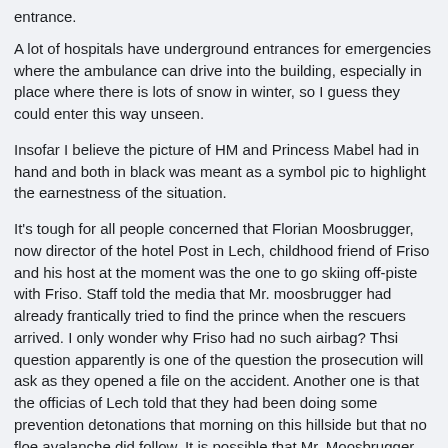entrance.
A lot of hospitals have underground entrances for emergencies where the ambulance can drive into the building, especially in place where there is lots of snow in winter, so I guess they could enter this way unseen.
Insofar I believe the picture of HM and Princess Mabel had in hand and both in black was meant as a symbol pic to highlight the earnestness of the situation.
It's tough for all people concerned that Florian Moosbrugger, now director of the hotel Post in Lech, childhood friend of Friso and his host at the moment was the one to go skiing off-piste with Friso. Staff told the media that Mr. moosbrugger had already frantically tried to find the prince when the rescuers arrived. I only wonder why Friso had no such airbag? Thsi question apparently is one of the question the prosecution will ask as they opened a file on the accident. Another one is that the officias of Lech told that they had been doing some prevention detonations that morning on this hillside but that no floe avalanche did follow. It is possible that Mr. Moosbrugger thought that due to those known detonations this area was safe enough but that because they did not succeed properly both he and Friso ended up in an avalanche. The report siad that Mr. Moosbrugger is still treated for shock and could not yet be interviewed by the prosecutors. It is not known if he is interviewed as a witness or as a defendant.
Ah, and 34 yo German from Rosenheim (which is in Bavaria, just